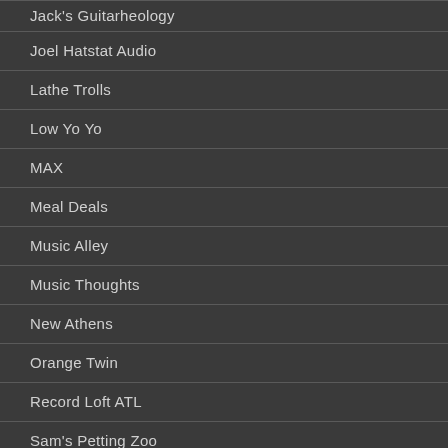Jack's Guitarheology
Joel Hatstat Audio
Lathe Trolls
Low Yo Yo
MAX
Meal Deals
Music Alley
Music Thoughts
New Athens
Orange Twin
Record Loft ATL
Sam's Petting Zoo